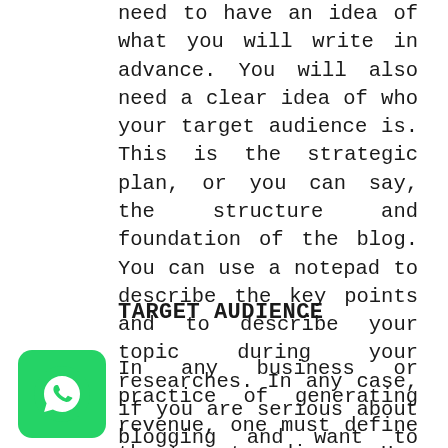need to have an idea of what you will write in advance. You will also need a clear idea of who your target audience is. This is the strategic plan, or you can say, the structure and foundation of the blog. You can use a notepad to describe the key points and to describe your topic during your researches. In any case, if you are serious about blogging and want to turn it into your full-time career, you need to prepare a proper outline for your blog.
TARGET AUDIENCE
In any business or practice of generating revenue, one must define the target audience. How do we do that? The target audience is the set of people who are most